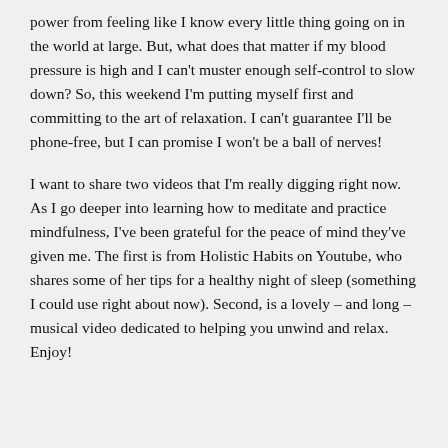power from feeling like I know every little thing going on in the world at large. But, what does that matter if my blood pressure is high and I can't muster enough self-control to slow down? So, this weekend I'm putting myself first and committing to the art of relaxation. I can't guarantee I'll be phone-free, but I can promise I won't be a ball of nerves!
I want to share two videos that I'm really digging right now. As I go deeper into learning how to meditate and practice mindfulness, I've been grateful for the peace of mind they've given me. The first is from Holistic Habits on Youtube, who shares some of her tips for a healthy night of sleep (something I could use right about now). Second, is a lovely – and long – musical video dedicated to helping you unwind and relax. Enjoy!